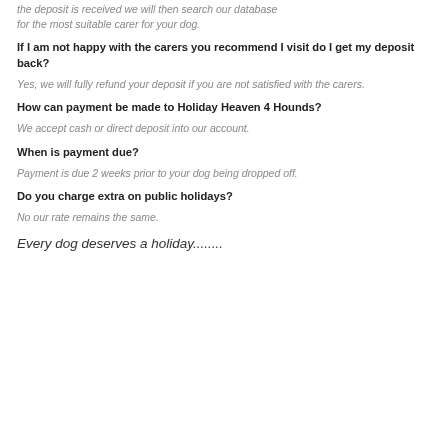the deposit is received we will then search our database for the most suitable carer for your dog.
If I am not happy with the carers you recommend I visit do I get my deposit back?
Yes, we will fully refund your deposit if you are not satisfied with the carers.
How can payment be made to Holiday Heaven 4 Hounds?
We accept cash or direct deposit into our account.
When is payment due?
Payment is due 2 weeks prior to your dog being dropped off.
Do you charge extra on public holidays?
No our rate remains the same.
Every dog deserves a holiday........